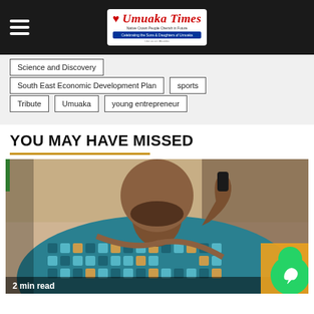Umuaka Times
Science and Discovery
South East Economic Development Plan
sports
Tribute
Umuaka
young entrepreneur
YOU MAY HAVE MISSED
[Figure (photo): Man in teal/blue patterned African print shirt talking on phone, with a bag strap across his chest]
2 min read